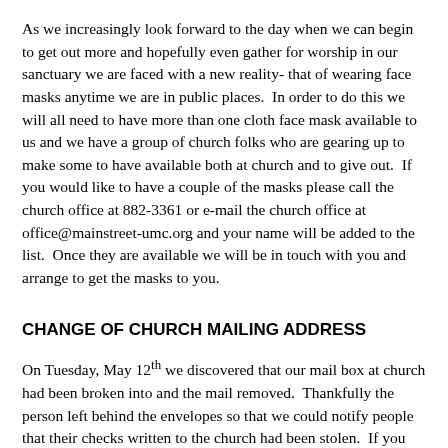As we increasingly look forward to the day when we can begin to get out more and hopefully even gather for worship in our sanctuary we are faced with a new reality- that of wearing face masks anytime we are in public places.  In order to do this we will all need to have more than one cloth face mask available to us and we have a group of church folks who are gearing up to make some to have available both at church and to give out.  If you would like to have a couple of the masks please call the church office at 882-3361 or e-mail the church office at office@mainstreet-umc.org and your name will be added to the list.  Once they are available we will be in touch with you and arrange to get the masks to you.
CHANGE OF CHURCH MAILING ADDRESS
On Tuesday, May 12th we discovered that our mail box at church had been broken into and the mail removed.  Thankfully the person left behind the envelopes so that we could notify people that their checks written to the church had been stolen.  If you happened to put anything in the mail to the church sometime around May 8th and haven't heard from us, please be attentive to whether your check gets cashed or not and notify us.  We are certain that it was...